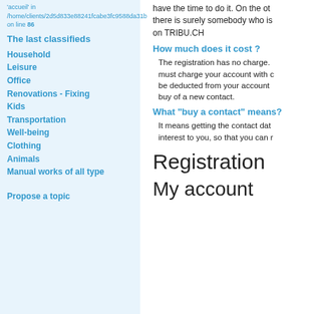'accueil' in /home/clients/2d5d833e88241fcabe3fc9588da31bc6/tribu/pages/_left_col.php on line 86
The last classifieds
Household
Leisure
Office
Renovations - Fixing
Kids
Transportation
Well-being
Clothing
Animals
Manual works of all type
Propose a topic
have the time to do it. On the other hand, there is surely somebody who is on TRIBU.CH
How much does it cost ?
The registration has no charge. But you must charge your account with credits that will be deducted from your account at every buy of a new contact.
What "buy a contact" means?
It means getting the contact data of interest to you, so that you can r...
Registration
My account